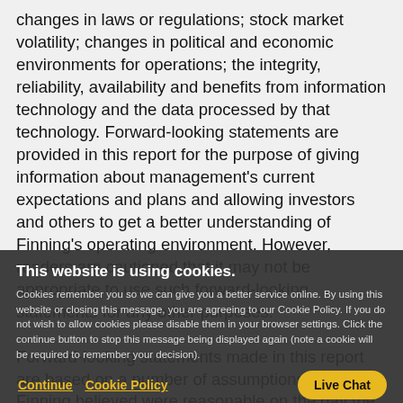changes in laws or regulations; stock market volatility; changes in political and economic environments for operations; the integrity, reliability, availability and benefits from information technology and the data processed by that technology. Forward-looking statements are provided in this report for the purpose of giving information about management's current expectations and plans and allowing investors and others to get a better understanding of Finning's operating environment. However, readers are cautioned that it may not be appropriate to use such forward-looking statements for any other purposes.

Forward-looking statements made in this report are based on a number of assumptions that Finning believed were reasonable on the day the Company made the forward-looking statements.
This website is using cookies.
Cookies remember you so we can give you a better service online. By using this website or closing this message, you are agreeing to our Cookie Policy. If you do not wish to allow cookies please disable them in your browser settings. Click the continue button to stop this message being displayed again (note a cookie will be required to remember your decision).